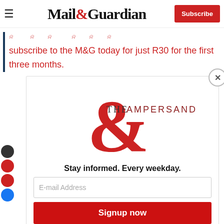Mail&Guardian | Subscribe
subscribe to the M&G today for just R30 for the first three months.
[Figure (logo): The Ampersand newsletter logo - large red ampersand symbol with 'THE AMPERSAND' text]
Stay informed. Every weekday.
E-mail Address
Signup now